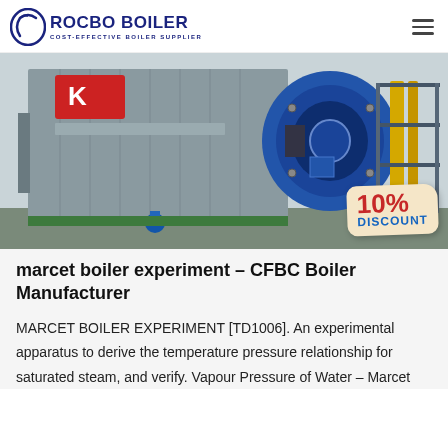ROCBO BOILER — COST-EFFECTIVE BOILER SUPPLIER
[Figure (photo): Industrial boiler equipment photo showing a large metallic boiler unit with a blue circular burner attached, yellow pipes and a metal staircase visible on the right side; a 10% DISCOUNT badge is overlaid in the lower right corner.]
marcet boiler experiment – CFBC Boiler Manufacturer
MARCET BOILER EXPERIMENT [TD1006]. An experimental apparatus to derive the temperature pressure relationship for saturated steam, and verify. Vapour Pressure of Water – Marcet